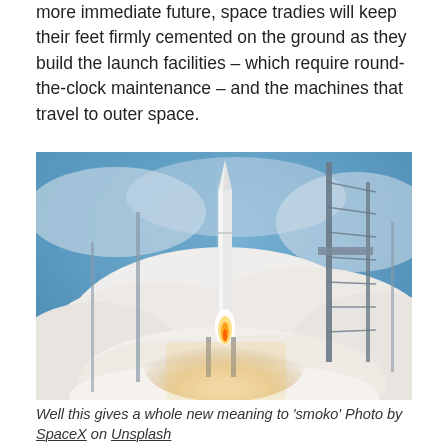more immediate future, space tradies will keep their feet firmly cemented on the ground as they build the launch facilities – which require round-the-clock maintenance – and the machines that travel to outer space.
[Figure (photo): A rocket launching from a launch pad with large billowing white smoke clouds, a tall steel launch tower on the right, and blue sky with clouds in the background.]
Well this gives a whole new meaning to 'smoko' Photo by SpaceX on Unsplash